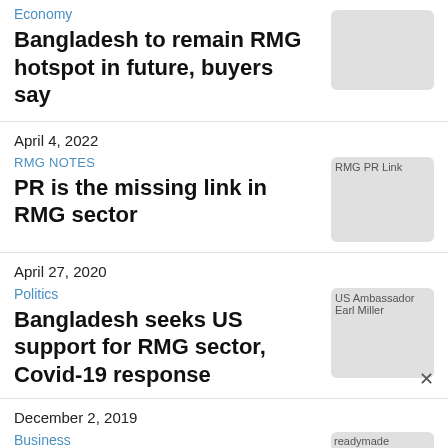Economy
Bangladesh to remain RMG hotspot in future, buyers say
April 4, 2022
RMG NOTES
PR is the missing link in RMG sector
[Figure (photo): RMG PR Link thumbnail image]
April 27, 2020
Politics
Bangladesh seeks US support for RMG sector, Covid-19 response
[Figure (photo): US Ambassador Earl Miller thumbnail image]
December 2, 2019
Business
[Figure (photo): readymade thumbnail image (partially visible)]